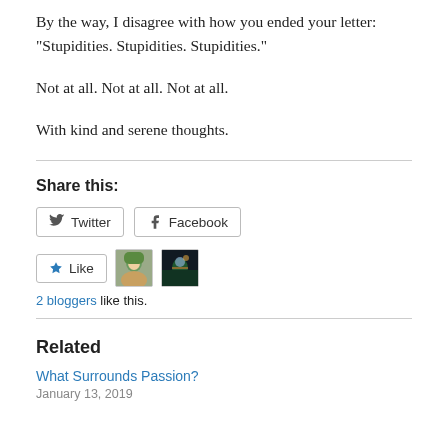By the way, I disagree with how you ended your letter: “Stupidities. Stupidities. Stupidities.”
Not at all. Not at all. Not at all.
With kind and serene thoughts.
Share this:
[Figure (other): Twitter and Facebook share buttons]
[Figure (other): Like button with two blogger avatars]
2 bloggers like this.
Related
What Surrounds Passion?
January 13, 2019